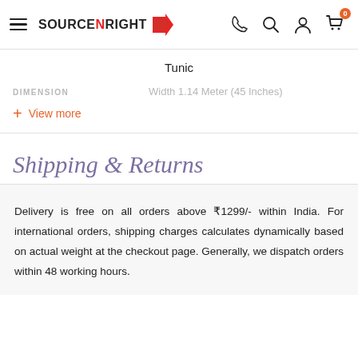[Figure (logo): Source N Right logo with hamburger menu icon and red arrow graphic]
Tunic
DIMENSION   Width 1.14 Meter (45 Inches)
+ View more
Shipping & Returns
Delivery is free on all orders above ₹1299/- within India. For international orders, shipping charges calculates dynamically based on actual weight at the checkout page. Generally, we dispatch orders within 48 working hours.